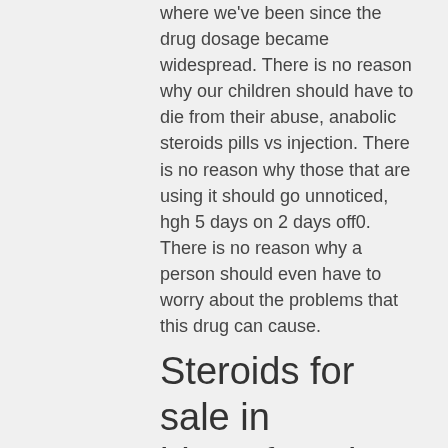where we've been since the drug dosage became widespread. There is no reason why our children should have to die from their abuse, anabolic steroids pills vs injection. There is no reason why those that are using it should go unnoticed, hgh 5 days on 2 days off0. There is no reason why a person should even have to worry about the problems that this drug can cause.
Steroids for sale in bloemfontein
Legal winstrol anabolic steroids for sale in stores in bloemfontein south africa generally, winstrol is an extremely reliable anabolic steroid when utilized for the ideal purpose. Winstrol's primary use within the sport of bodybuilding is in conjunction with testosterone and is an effective anabolic steroid for the athlete whose performance needs enhancing by a substantial margin above that of any other steroid.